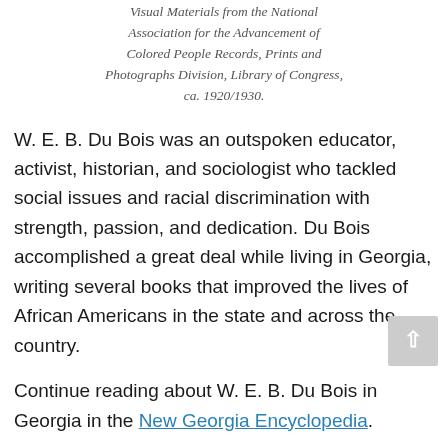Visual Materials from the National Association for the Advancement of Colored People Records, Prints and Photographs Division, Library of Congress, ca. 1920/1930.
W. E. B. Du Bois was an outspoken educator, activist, historian, and sociologist who tackled social issues and racial discrimination with strength, passion, and dedication. Du Bois accomplished a great deal while living in Georgia, writing several books that improved the lives of African Americans in the state and across the country.
Continue reading about W. E. B. Du Bois in Georgia in the New Georgia Encyclopedia.
SAMPLE PRIMARY SOURCES